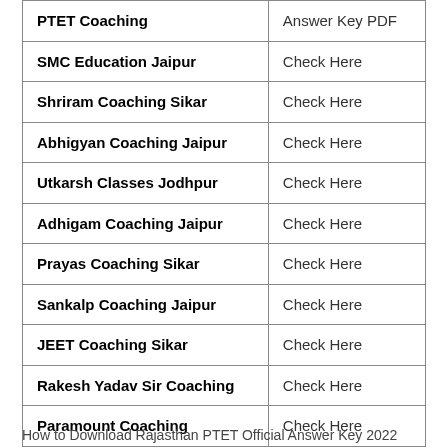| PTET Coaching | Answer Key PDF |
| --- | --- |
| SMC Education Jaipur | Check Here |
| Shriram Coaching Sikar | Check Here |
| Abhigyan Coaching Jaipur | Check Here |
| Utkarsh Classes Jodhpur | Check Here |
| Adhigam Coaching Jaipur | Check Here |
| Prayas Coaching Sikar | Check Here |
| Sankalp Coaching Jaipur | Check Here |
| JEET Coaching Sikar | Check Here |
| Rakesh Yadav Sir Coaching | Check Here |
| Paramount Coaching | Check Here |
How to Download Rajasthan PTET Official Answer Key 2022